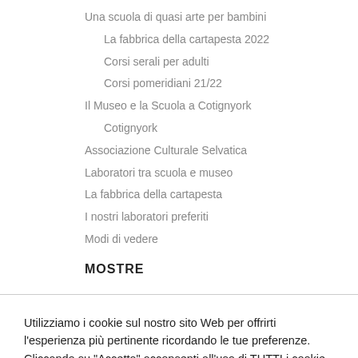Una scuola di quasi arte per bambini
La fabbrica della cartapesta 2022
Corsi serali per adulti
Corsi pomeridiani 21/22
Il Museo e la Scuola a Cotignyork
Cotignyork
Associazione Culturale Selvatica
Laboratori tra scuola e museo
La fabbrica della cartapesta
I nostri laboratori preferiti
Modi di vedere
MOSTRE
Utilizziamo i cookie sul nostro sito Web per offrirti l'esperienza più pertinente ricordando le tue preferenze. Cliccando su “Accetta” acconsenti all'uso di TUTTI i cookie.
Personalizza   ACCETTA